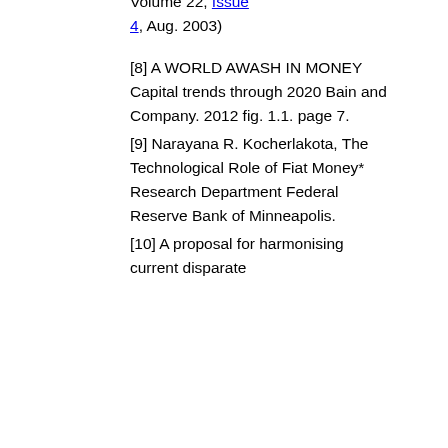Volume 22, Issue 4, Aug. 2003)
[8] A WORLD AWASH IN MONEY Capital trends through 2020 Bain and Company. 2012 fig. 1.1. page 7.
[9] Narayana R. Kocherlakota, The Technological Role of Fiat Money* Research Department Federal Reserve Bank of Minneapolis.
[10] A proposal for harmonising current disparate